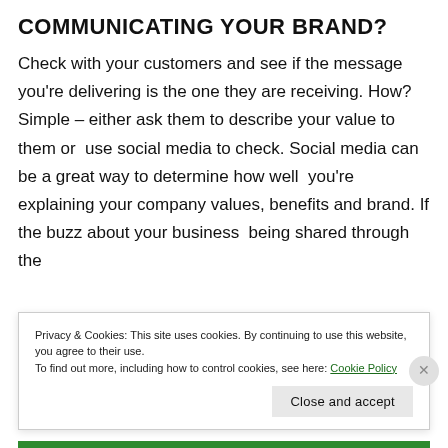COMMUNICATING YOUR BRAND?
Check with your customers and see if the message you’re delivering is the one they are receiving. How? Simple – either ask them to describe your value to them or  use social media to check. Social media can be a great way to determine how well  you’re explaining your company values, benefits and brand. If the buzz about your business  being shared through the
Privacy & Cookies: This site uses cookies. By continuing to use this website, you agree to their use.
To find out more, including how to control cookies, see here: Cookie Policy
Close and accept